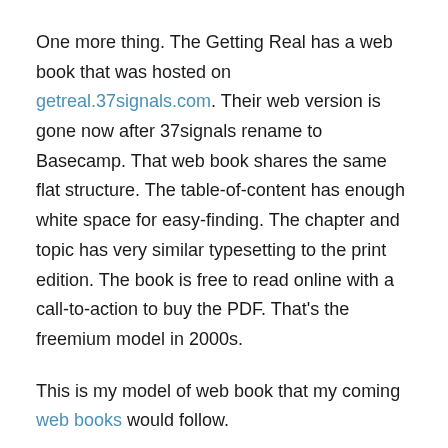One more thing. The Getting Real has a web book that was hosted on getreal.37signals.com. Their web version is gone now after 37signals rename to Basecamp. That web book shares the same flat structure. The table-of-content has enough white space for easy-finding. The chapter and topic has very similar typesetting to the print edition. The book is free to read online with a call-to-action to buy the PDF. That's the freemium model in 2000s.
This is my model of web book that my coming web books would follow.